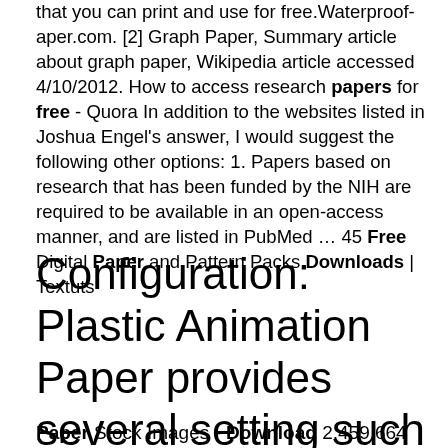that you can print and use for free.Waterproof-aper.com. [2] Graph Paper, Summary article about graph paper, Wikipedia article accessed 4/10/2012. How to access research papers for free - Quora In addition to the websites listed in Joshua Engel's answer, I would suggest the following other options: 1. Papers based on research that has been funded by the NIH are required to be available in an open-access manner, and are listed in PubMed … 45 Free Digital Paper and Pattern Packs Downloads | Textuts
Configuration: Plastic Animation Paper provides several setting such as playback, rotate, selection and still many others to control the picture.
Paper Stock Images - Download 2,459,664 Royalty Free